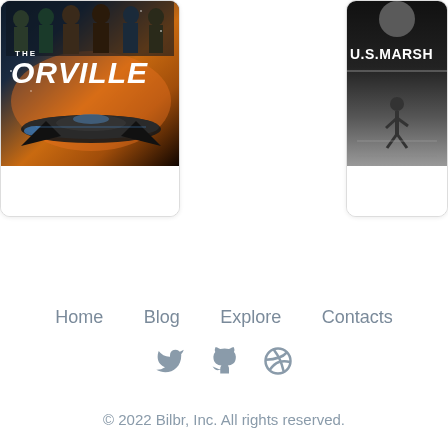[Figure (photo): The Orville TV show poster - partial card showing movie/show art with spaceship and cast against orange/dark background with 'THE ORVILLE' text]
[Figure (photo): U.S. Marshals movie poster - partial card showing 'U.S. MARSH...' title text in white on dark background with running figure silhouette]
Home   Blog   Explore   Contacts
[Figure (other): Social icons: Twitter bird, GitHub octocat, Dribbble ball - in muted gray-blue color]
© 2022 Bilbr, Inc. All rights reserved.